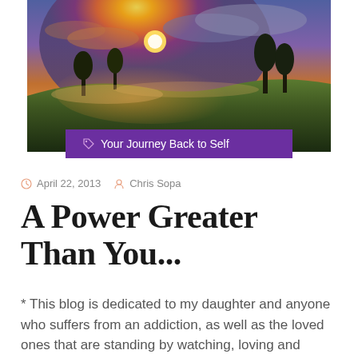[Figure (photo): A scenic landscape photo showing a dramatic sunrise or sunset over a misty hillside with trees silhouetted against a glowing orange and purple sky]
Your Journey Back to Self
April 22, 2013  Chris Sopa
A Power Greater Than You...
* This blog is dedicated to my daughter and anyone who suffers from an addiction, as well as the loved ones that are standing by watching, loving and encouraging